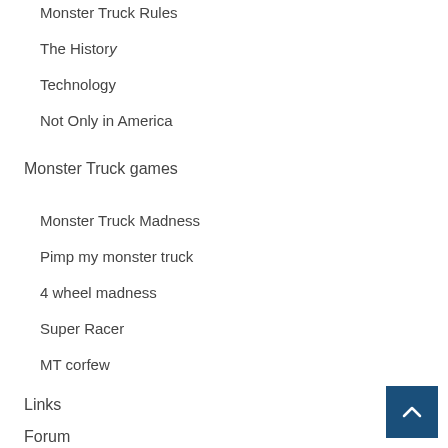Monster Truck Rules
The History
Technology
Not Only in America
Monster Truck games
Monster Truck Madness
Pimp my monster truck
4 wheel madness
Super Racer
MT corfew
Links
Forum